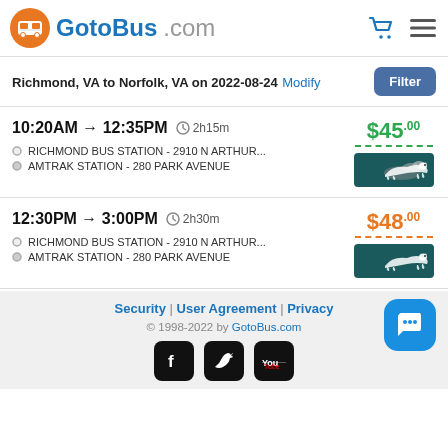GotoBus.com
Richmond, VA to Norfolk, VA on 2022-08-24 Modify
10:20AM → 12:35PM  2h15m  $45.00
RICHMOND BUS STATION - 2910 N ARTHUR...
AMTRAK STATION - 280 PARK AVENUE
12:30PM → 3:00PM  2h30m  $48.00
RICHMOND BUS STATION - 2910 N ARTHUR...
AMTRAK STATION - 280 PARK AVENUE
Security | User Agreement | Privacy
© 1998-2022 by GotoBus.com